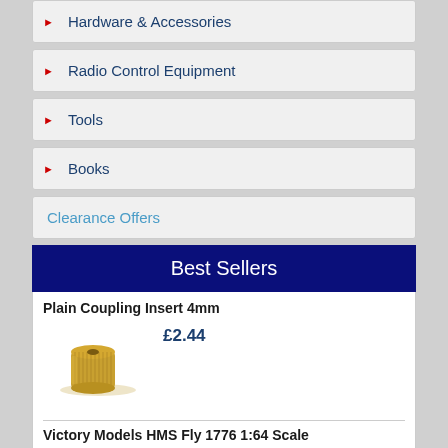Hardware & Accessories
Radio Control Equipment
Tools
Books
Clearance Offers
Best Sellers
Plain Coupling Insert 4mm
£2.44
[Figure (photo): Small brass plain coupling insert 4mm component]
Victory Models HMS Fly 1776 1:64 Scale
£255.00